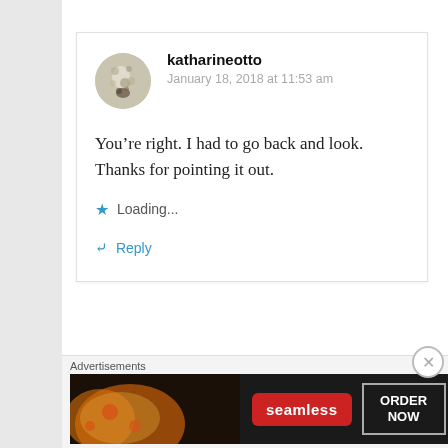katharineotto
January 18, 2018 at 11:53 am
You're right. I had to go back and look. Thanks for pointing it out.
Loading...
Reply
Advertisements
[Figure (other): Seamless food delivery advertisement banner with pizza image, red Seamless logo, and ORDER NOW button]